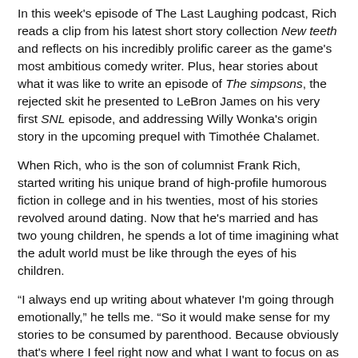In this week's episode of The Last Laughing podcast, Rich reads a clip from his latest short story collection New teeth and reflects on his incredibly prolific career as the game's most ambitious comedy writer. Plus, hear stories about what it was like to write an episode of The simpsons, the rejected skit he presented to LeBron James on his very first SNL episode, and addressing Willy Wonka's origin story in the upcoming prequel with Timothée Chalamet.
When Rich, who is the son of columnist Frank Rich, started writing his unique brand of high-profile humorous fiction in college and in his twenties, most of his stories revolved around dating. Now that he's married and has two young children, he spends a lot of time imagining what the adult world must be like through the eyes of his children.
"I always end up writing about whatever I'm going through emotionally," he tells me. "So it would make sense for my stories to be consumed by parenthood. Because obviously that's where I feel right now and what I want to focus on as a writer."